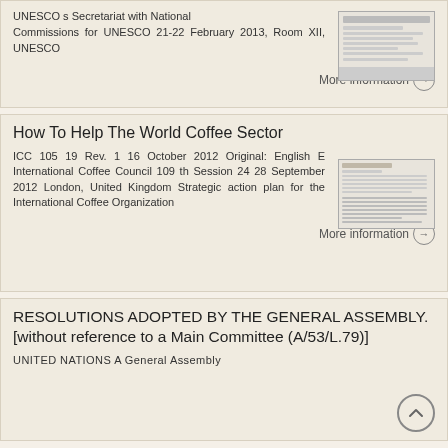UNESCO s Secretariat with National Commissions for UNESCO 21-22 February 2013, Room XII, UNESCO
More information →
How To Help The World Coffee Sector
ICC 105 19 Rev. 1 16 October 2012 Original: English E International Coffee Council 109 th Session 24 28 September 2012 London, United Kingdom Strategic action plan for the International Coffee Organization
More information →
RESOLUTIONS ADOPTED BY THE GENERAL ASSEMBLY. [without reference to a Main Committee (A/53/L.79)]
UNITED NATIONS A General Assembly